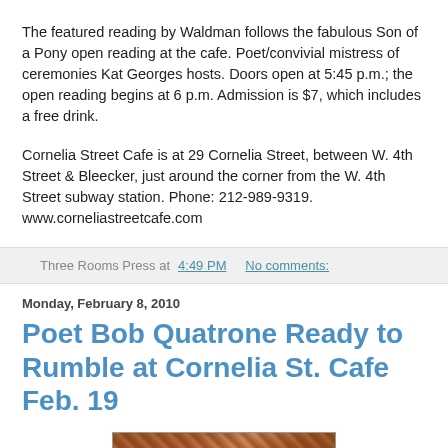The featured reading by Waldman follows the fabulous Son of a Pony open reading at the cafe. Poet/convivial mistress of ceremonies Kat Georges hosts. Doors open at 5:45 p.m.; the open reading begins at 6 p.m. Admission is $7, which includes a free drink.
Cornelia Street Cafe is at 29 Cornelia Street, between W. 4th Street & Bleecker, just around the corner from the W. 4th Street subway station. Phone: 212-989-9319. www.corneliastreetcafe.com
Three Rooms Press at 4:49 PM   No comments:
Monday, February 8, 2010
Poet Bob Quatrone Ready to Rumble at Cornelia St. Cafe Feb. 19
[Figure (photo): Partial photo visible at bottom of page, appears to show a reddish-brown surface or object]